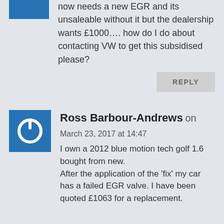now needs a new EGR and its unsaleable without it but the dealership wants £1000…. how do I do about contacting VW to get this subsidised please?
REPLY
[Figure (logo): Blue square avatar with white power button icon]
Ross Barbour-Andrews on March 23, 2017 at 14:47 I own a 2012 blue motion tech golf 1.6 bought from new. After the application of the 'fix' my car has a failed EGR valve. I have been quoted £1063 for a replacement.